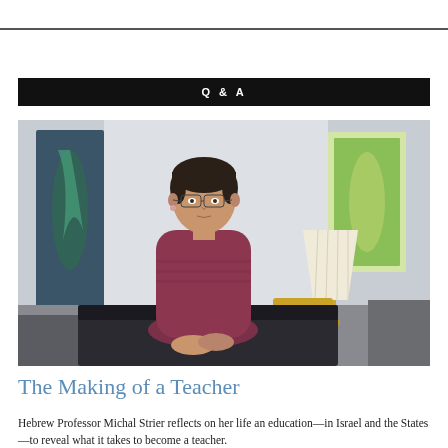Q & A
[Figure (photo): A woman with short dark hair and glasses wearing a dark red/maroon knit sweater, seated in a living room setting with artwork on the walls and a lamp in the background.]
The Making of a Teacher
Hebrew Professor Michal Strier reflects on her life an education—in Israel and the States—to reveal what it takes to become a teacher.